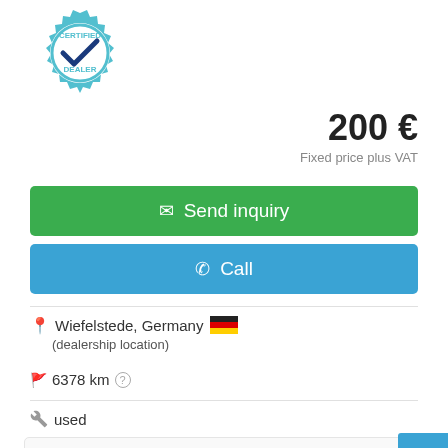[Figure (logo): Certified Dealer badge/seal in teal and white with a checkmark]
200 €
Fixed price plus VAT
✉ Send inquiry
✆ Call
Wiefelstede, Germany 🇩🇪
(dealership location)
6378 km ?
used
Saw blade, wood saw blade, circular saw blade -105311-1… ax. 10600 Utwrfvft -P… able - Weight: 0.5 kg/piece ...
➤ Save search query